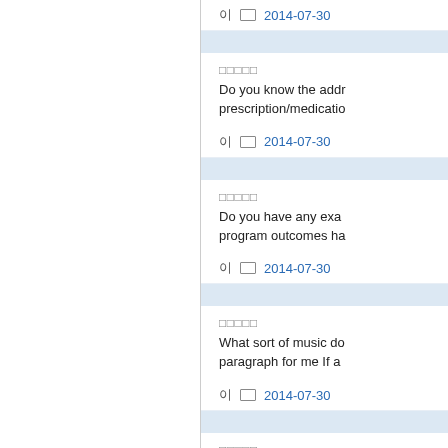2014-07-30
Do you know the address prescription/medication
2014-07-30
Do you have any examples program outcomes ha
2014-07-30
What sort of music do paragraph for me If a
2014-07-30
Where do you study? writing 6 10 min 5 11
2014-07-30